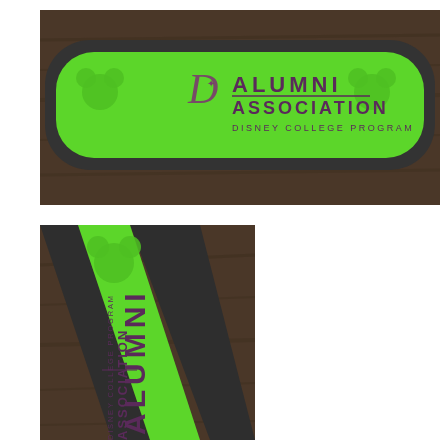[Figure (photo): Top-down photo of a green Disney MagicBand / Alumni Association wristband on a dark wood surface. The bright green band has a Mickey Mouse silhouette cutout on each end, a Disney 'D' logo in the center-left, and text reading 'ALUMNI ASSOCIATION' and 'DISNEY COLLEGE PROGRAM'.]
[Figure (photo): Close-up angled photo of the same green Disney Alumni Association MagicBand showing the Mickey Mouse silhouette emblem at the top, and vertically-oriented text reading 'ALUMNI ASSOCIATION' and 'DISNEY COLLEGE PROGRAM' along the band.]